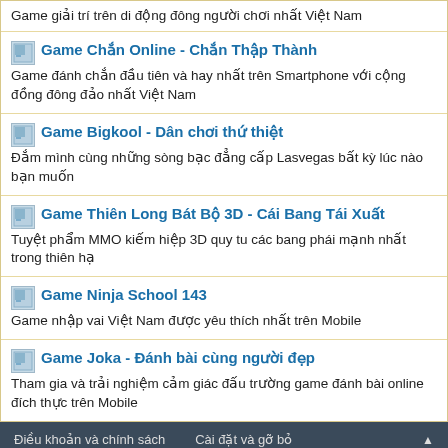Game giải trí trên di động đông người chơi nhất Việt Nam
Game Chắn Online - Chắn Thập Thành
Game đánh chắn đầu tiên và hay nhất trên Smartphone với cộng đồng đông đảo nhất Việt Nam
Game Bigkool - Dân chơi thứ thiệt
Đắm mình cùng những sòng bạc đẳng cấp Lasvegas bất kỳ lúc nào bạn muốn
Game Thiên Long Bát Bộ 3D - Cái Bang Tái Xuất
Tuyệt phẩm MMO kiếm hiệp 3D quy tu các bang phái mạnh nhất trong thiên hạ
Game Ninja School 143
Game nhập vai Việt Nam được yêu thích nhất trên Mobile
Game Joka - Đánh bài cùng người đẹp
Tham gia và trải nghiệm cảm giác đấu trường game đánh bài online đích thực trên Mobile
Điều khoản và chính sách   Cài đặt và gỡ bỏ
Wapsite sẽ ... by Zink
Trang là n... gle. Chúng tôi tôn trọ... n các bạn click vào link quảng cáo trên site. Khi truy cập vào site là bạn đã đồng ý với Điều khoản chính sách của những site. Với lòng đan...